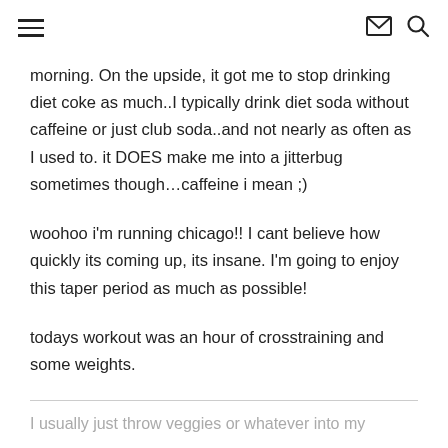≡  ✉  🔍
morning. On the upside, it got me to stop drinking diet coke as much..I typically drink diet soda without caffeine or just club soda..and not nearly as often as I used to. it DOES make me into a jitterbug sometimes though…caffeine i mean ;)
woohoo i'm running chicago!! I cant believe how quickly its coming up, its insane. I'm going to enjoy this taper period as much as possible!
todays workout was an hour of crosstraining and some weights.
I usually just throw veggies or whatever into my